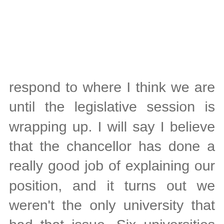respond to where I think we are until the legislative session is wrapping up. I will say I believe that the chancellor has done a really good job of explaining our position, and it turns out we weren't the only university that had that issue. Six universities in the state did, and some of them haven't reported yet, and that makes you wonder why they haven't reported yet. I suspect this is a wider-spread issue than we knew, and because we were the first, we self-reported and we did it with very rigorous methodologies. All we've said all along is, "We'll do whatever's fair, but make sure it's